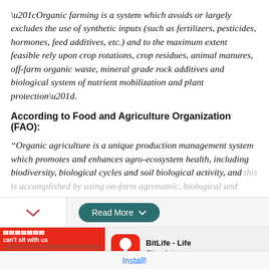“Organic farming is a system which avoids or largely excludes the use of synthetic inputs (such as fertilizers, pesticides, hormones, feed additives, etc.) and to the maximum extent feasible rely upon crop rotations, crop residues, animal manures, off-farm organic waste, mineral grade rock additives and biological system of nutrient mobilization and plant protection”.
According to Food and Agriculture Organization (FAO):
“Organic agriculture is a unique production management system which promotes and enhances agro-ecosystem health, including biodiversity, biological cycles and soil biological activity, and this is accomplished by using on-farm agronomic, biological and
[Figure (screenshot): Read More button with chevron/collapse icon on left, teal rounded button labeled 'Read More' with chevron on right]
[Figure (screenshot): Advertisement banner: red 'can't sit with us' ad on left, BitLife - Life Simulator app icon and name on right with Install button below]